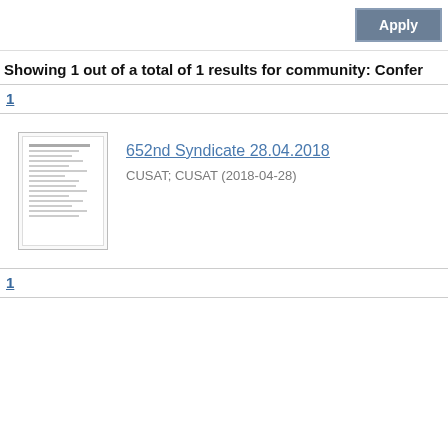Apply
Showing 1 out of a total of 1 results for community: Confer
1
[Figure (screenshot): Thumbnail of a document page showing the 652nd Syndicate 28.04.2018 document with lines of text]
652nd Syndicate 28.04.2018
CUSAT; CUSAT (2018-04-28)
1